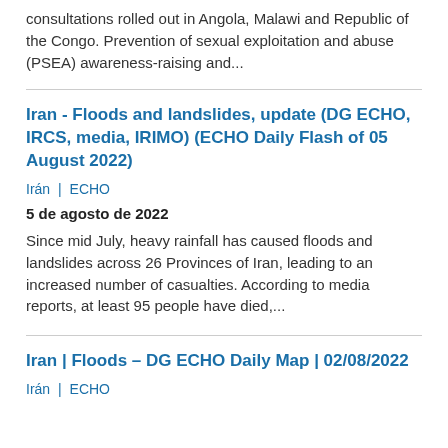consultations rolled out in Angola, Malawi and Republic of the Congo. Prevention of sexual exploitation and abuse (PSEA) awareness-raising and...
Iran - Floods and landslides, update (DG ECHO, IRCS, media, IRIMO) (ECHO Daily Flash of 05 August 2022)
Irán  |  ECHO
5 de agosto de 2022
Since mid July, heavy rainfall has caused floods and landslides across 26 Provinces of Iran, leading to an increased number of casualties. According to media reports, at least 95 people have died,...
Iran | Floods – DG ECHO Daily Map | 02/08/2022
Irán  |  ECHO